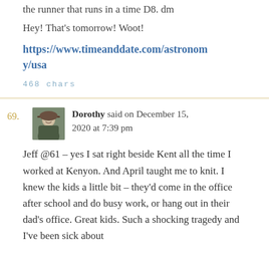Hey! That's tomorrow! Woot!
https://www.timeanddate.com/astronomy/usa
468 chars
69. Dorothy said on December 15, 2020 at 7:39 pm
Jeff @61 – yes I sat right beside Kent all the time I worked at Kenyon. And April taught me to knit. I knew the kids a little bit – they'd come in the office after school and do busy work, or hang out in their dad's office. Great kids. Such a shocking tragedy and I've been sick about